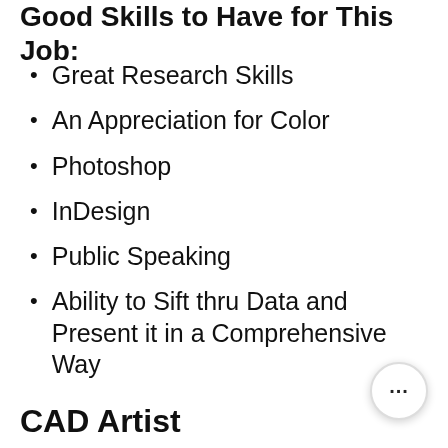Good Skills to Have for This Job:
Great Research Skills
An Appreciation for Color
Photoshop
InDesign
Public Speaking
Ability to Sift thru Data and Present it in a Comprehensive Way
CAD Artist